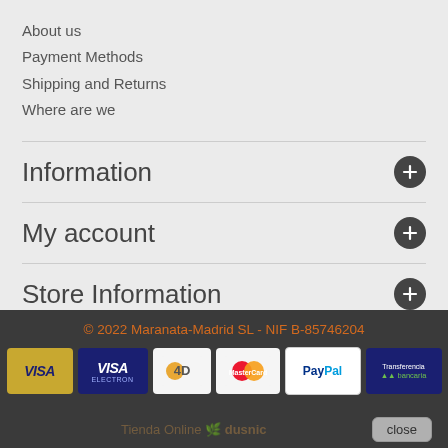About us
Payment Methods
Shipping and Returns
Where are we
Information
My account
Store Information
© 2022 Maranata-Madrid SL - NIF B-85746204
[Figure (logo): Payment method logos: VISA (gold), VISA (blue/Electron), CB, Mastercard, PayPal, Transferencia bancaria]
Tienda Online dusnic
close